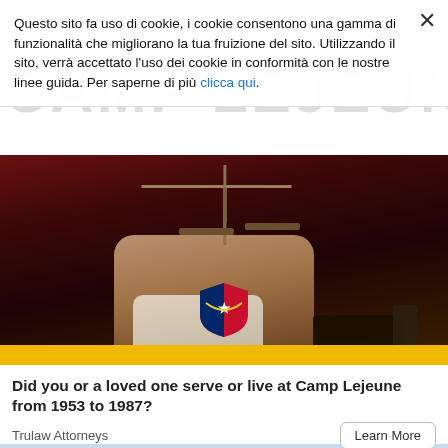Questo sito fa uso di cookie, i cookie consentono una gamma di funzionalità che migliorano la tua fruizione del sito. Utilizzando il sito, verrà accettato l'uso dei cookie in conformità con le nostre linee guida. Per saperne di più clicca qui.
[Figure (photo): Photo of hands holding scales of justice with a shield/logo overlay and yellow bar at bottom]
Did you or a loved one serve or live at Camp Lejeune from 1953 to 1987?
Trulaw Attorneys
[Figure (photo): Welcome to Marine Corps Base Camp Lejeune sign on brick pillars]